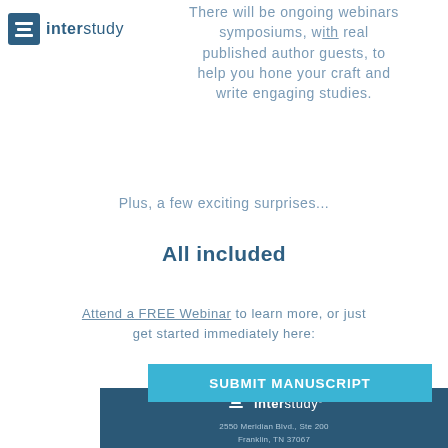[Figure (logo): Interstudy logo with stacked lines icon and bold text]
There will be ongoing webinars symposiums, with real published author guests, to help you hone your craft and write engaging studies.
Plus, a few exciting surprises...
All included
Attend a FREE Webinar to learn more, or just get started immediately here:
SUBMIT MANUSCRIPT
[Figure (logo): Interstudy footer logo with address, phone, Privacy Policy link, and social media icons]
2550 Meridian Blvd., Ste 200
Franklin, TN 37067
(855) 788-3926
Privacy Policy